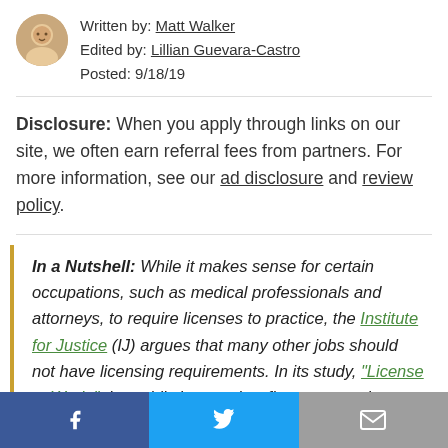Written by: Matt Walker
Edited by: Lillian Guevara-Castro
Posted: 9/18/19
Disclosure: When you apply through links on our site, we often earn referral fees from partners. For more information, see our ad disclosure and review policy.
In a Nutshell: While it makes sense for certain occupations, such as medical professionals and attorneys, to require licenses to practice, the Institute for Justice (IJ) argues that many other jobs should not have licensing requirements. In its study, "License to Work," the public interest law firm presents its argument that licenses often